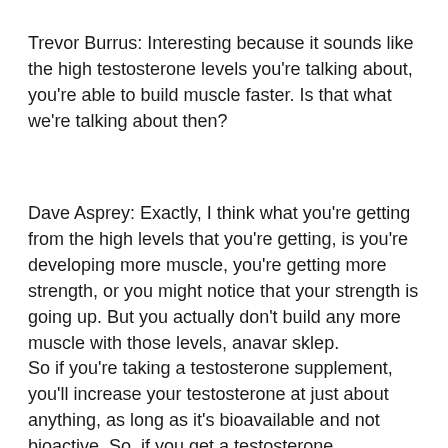Trevor Burrus: Interesting because it sounds like the high testosterone levels you're talking about, you're able to build muscle faster. Is that what we're talking about then?
Dave Asprey: Exactly, I think what you're getting from the high levels that you're getting, is you're developing more muscle, you're getting more strength, or you might notice that your strength is going up. But you actually don't build any more muscle with those levels, anavar sklep.
So if you're taking a testosterone supplement, you'll increase your testosterone at just about anything, as long as it's bioavailable and not bioactive. So, if you get a testosterone supplement,